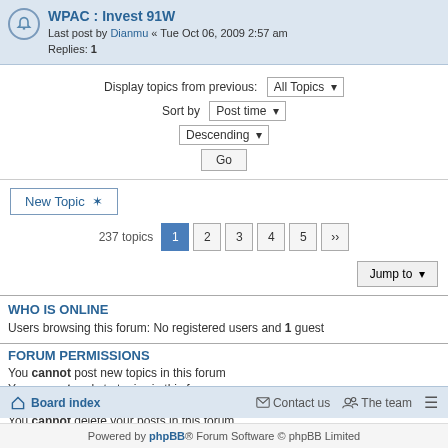WPAC : Invest 91W — Last post by Dianmu « Tue Oct 06, 2009 2:57 am — Replies: 1
Display topics from previous: All Topics ▾
Sort by  Post time ▾
Descending ▾
Go
New Topic ✶
237 topics  1  2  3  4  5  »
Jump to ▾
WHO IS ONLINE
Users browsing this forum: No registered users and 1 guest
FORUM PERMISSIONS
You cannot post new topics in this forum
You cannot reply to topics in this forum
You cannot edit your posts in this forum
You cannot delete your posts in this forum
Board index   Contact us   The team   ≡   Powered by phpBB® Forum Software © phpBB Limited